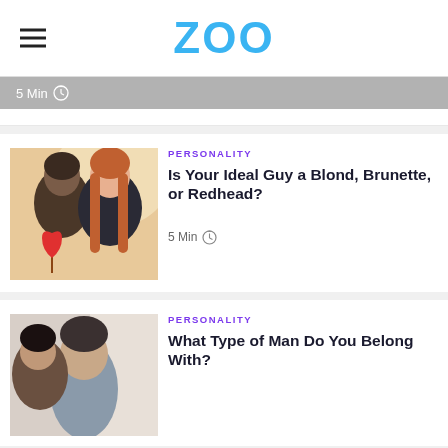ZOO
5 Min
[Figure (photo): A couple, woman with long red hair smiling, man holding a red heart on a stick]
PERSONALITY
Is Your Ideal Guy a Blond, Brunette, or Redhead?
5 Min
[Figure (photo): A couple, man with dark hair being kissed on cheek]
PERSONALITY
What Type of Man Do You Belong With?